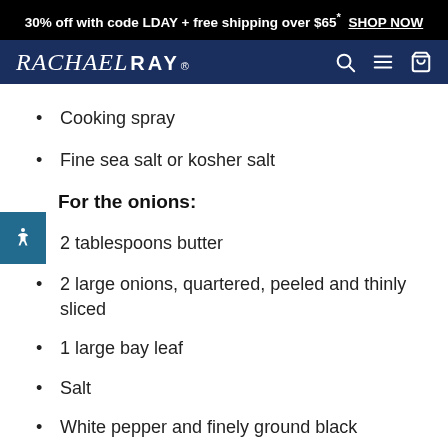30% off with code LDAY + free shipping over $65* SHOP NOW
RACHAEL RAY
Cooking spray
Fine sea salt or kosher salt
For the onions:
2 tablespoons butter
2 large onions, quartered, peeled and thinly sliced
1 large bay leaf
Salt
White pepper and finely ground black